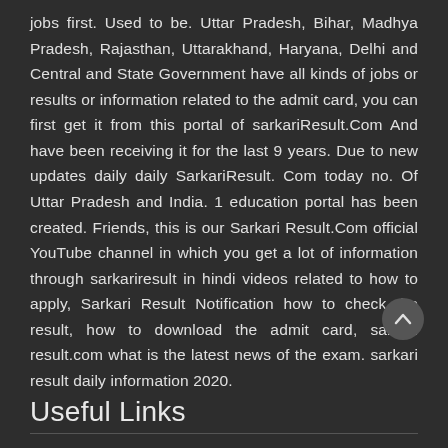jobs first. Used to be. Uttar Pradesh, Bihar, Madhya Pradesh, Rajasthan, Uttarakhand, Haryana, Delhi and Central and State Government have all kinds of jobs or results or information related to the admit card, you can first get it from this portal of sarkariResult.Com And have been receiving it for the last 9 years. Due to new updates daily daily SarkariResult. Com today no. Of Uttar Pradesh and India. 1 education portal has been created. Friends, this is our Sarkari Result.Com official YouTube channel in which you get a lot of information through sarkariresult in hindi videos related to how to apply, Sarkari Result Notification how to check the result, how to download the admit card, sarkari result.com what is the latest news of the exam. sarkari result daily information 2020.
Useful Links